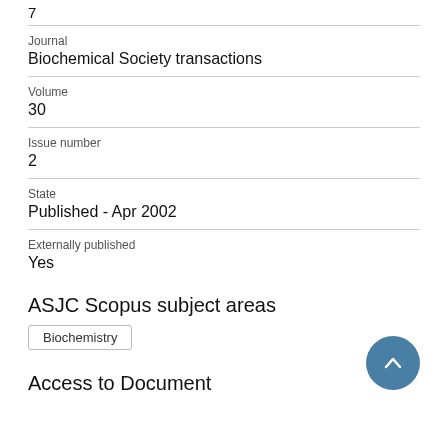7
Journal
Biochemical Society transactions
Volume
30
Issue number
2
State
Published - Apr 2002
Externally published
Yes
ASJC Scopus subject areas
Biochemistry
Access to Document